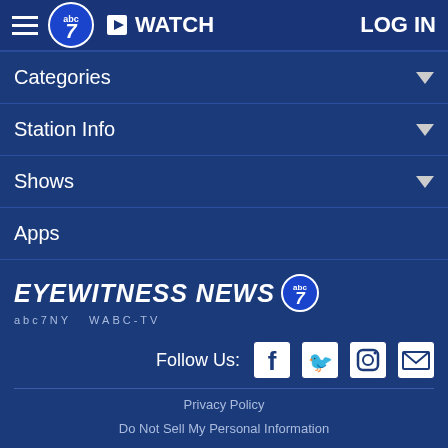[Figure (screenshot): ABC7 Eyewitness News navigation bar with hamburger menu, logo, WATCH button, and LOG IN link]
Categories
Station Info
Shows
Apps
[Figure (logo): Eyewitness News abc7 logo with WABC-TV text]
Follow Us: [Facebook] [Twitter] [Instagram] [Email]
Privacy Policy
Do Not Sell My Personal Information
Children's Privacy Policy
Your California Privacy Rights    Terms of Use
Interest-Based Ads    Public Inspection File